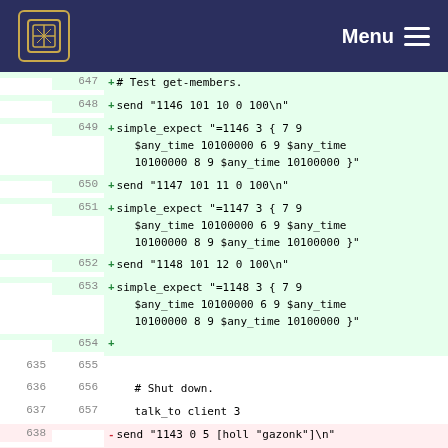Menu
647  + # Test get-members.
648  + send "1146 101 10 0 100\n"
649  + simple_expect "=1146 3 { 7 9 $any_time 10100000 6 9 $any_time 10100000 8 9 $any_time 10100000 }"
650  + send "1147 101 11 0 100\n"
651  + simple_expect "=1147 3 { 7 9 $any_time 10100000 6 9 $any_time 10100000 8 9 $any_time 10100000 }"
652  + send "1148 101 12 0 100\n"
653  + simple_expect "=1148 3 { 7 9 $any_time 10100000 6 9 $any_time 10100000 8 9 $any_time 10100000 }"
654  +
635 655
636 656    # Shut down.
637 657    talk_to client 3
638     - send "1143 0 5 [holl "gazonk"]\n"
639     - simple_expect "=1143"
640     - send "1144 42 255\n"